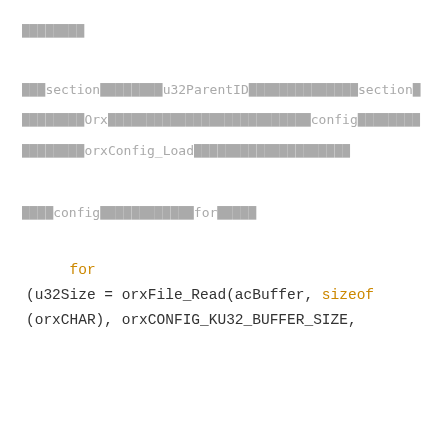████████
███section████████u32ParentID██████████████section█
████████Orx██████████████████████config████████
████████orxConfig_Load████████████████████
████config████████████for█████
for
(u32Size = orxFile_Read(acBuffer, sizeof
(orxCHAR), orxCONFIG_KU32_BUFFER_SIZE,